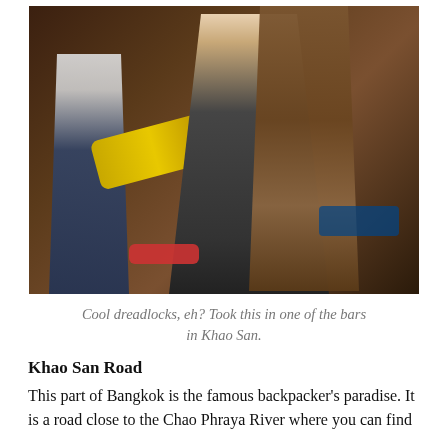[Figure (photo): A person with very long dreadlocks standing in a bar, playing a yellow guitar. Another person visible on the left. Blue lights visible in the background on the right. Indoor bar setting with dark wooden decor.]
Cool dreadlocks, eh? Took this in one of the bars in Khao San.
Khao San Road
This part of Bangkok is the famous backpacker's paradise. It is a road close to the Chao Phraya River where you can find